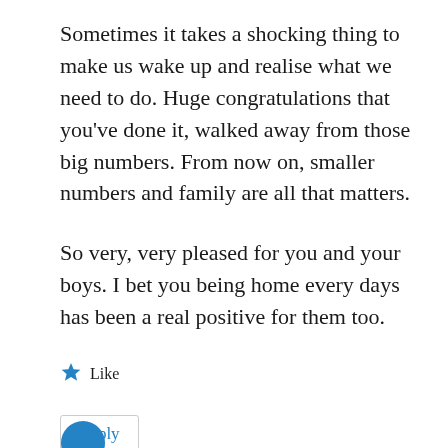Sometimes it takes a shocking thing to make us wake up and realise what we need to do. Huge congratulations that you've done it, walked away from those big numbers. From now on, smaller numbers and family are all that matters.
So very, very pleased for you and your boys. I bet you being home every days has been a real positive for them too.
★ Like
Reply